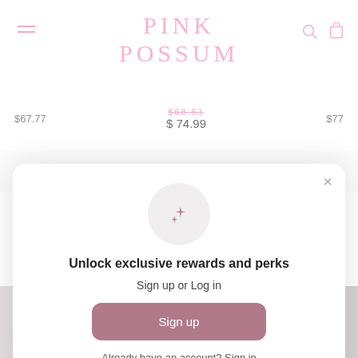PINK POSSUM
$67.77   $68.61   $74.99   $77
TRENDY TEACHERS
[Figure (screenshot): Modal popup with sparkle icon, 'Unlock exclusive rewards and perks' heading, 'Sign up or Log in' subtext, 'Sign up' button, and 'Already have an account? Sign in' footer text]
Unlock exclusive rewards and perks
Sign up or Log in
Sign up
Already have an account? Sign in